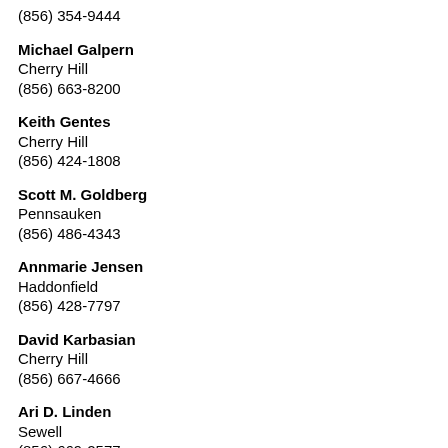(856) 354-9444
Michael Galpern
Cherry Hill
(856) 663-8200
Keith Gentes
Cherry Hill
(856) 424-1808
Scott M. Goldberg
Pennsauken
(856) 486-4343
Annmarie Jensen
Haddonfield
(856) 428-7797
David Karbasian
Cherry Hill
(856) 667-4666
Ari D. Linden
Sewell
(856) 669-2577
Gene Locks
Cherry Hill
(856) 663-8200